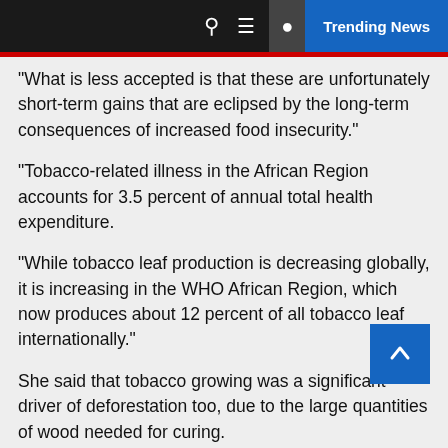Trending News
"What is less accepted is that these are unfortunately short-term gains that are eclipsed by the long-term consequences of increased food insecurity."
"Tobacco-related illness in the African Region accounts for 3.5 percent of annual total health expenditure.
"While tobacco leaf production is decreasing globally, it is increasing in the WHO African Region, which now produces about 12 percent of all tobacco leaf internationally."
She said that tobacco growing was a significant driver of deforestation too, due to the large quantities of wood needed for curing.
She said that tobacco cultivation exposed farmers to several health risks, including "green tobacco sickness", which was caused by nicotine absorbed through the skin during the handling of wet tobacco leaves.